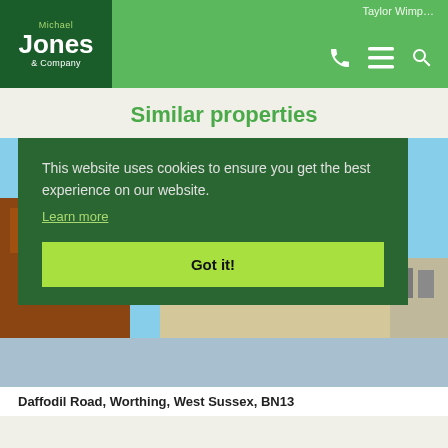Michael Jones & Company
Similar properties
[Figure (photo): Exterior photo of a new-build residential property with brick and render facade under blue sky, with SSTC badge overlay]
This website uses cookies to ensure you get the best experience on our website.
Learn more
Got it!
Daffodil Road, Worthing, West Sussex, BN13